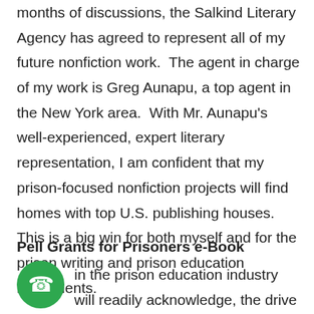months of discussions, the Salkind Literary Agency has agreed to represent all of my future nonfiction work.  The agent in charge of my work is Greg Aunapu, a top agent in the New York area.  With Mr. Aunapu's well-experienced, expert literary representation, I am confident that my prison-focused nonfiction projects will find homes with top U.S. publishing houses.  This is a big win for both myself and for the prison writing and prison education movements.
Pell Grants for Prisoners e-Book
A[phone icon] in the prison education industry will readily acknowledge, the drive toward reinstating prisoner